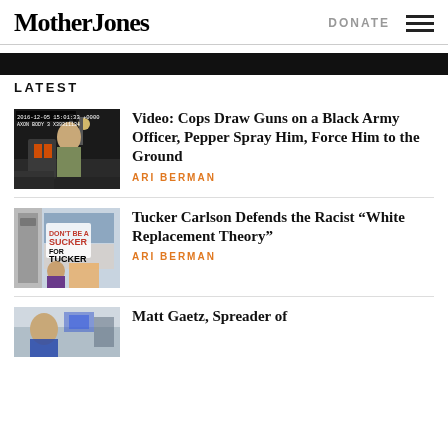Mother Jones | DONATE
LATEST
Video: Cops Draw Guns on a Black Army Officer, Pepper Spray Him, Force Him to the Ground
ARI BERMAN
Tucker Carlson Defends the Racist “White Replacement Theory”
ARI BERMAN
Matt Gaetz, Spreader of